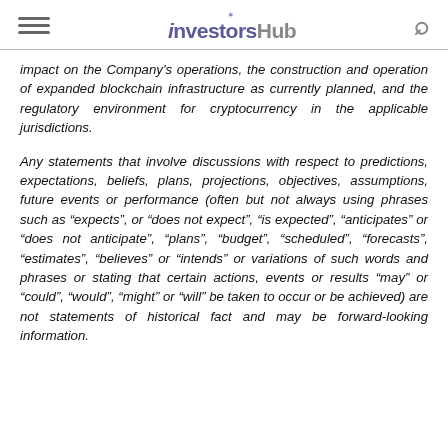investorshub
impact on the Company's operations, the construction and operation of expanded blockchain infrastructure as currently planned, and the regulatory environment for cryptocurrency in the applicable jurisdictions.
Any statements that involve discussions with respect to predictions, expectations, beliefs, plans, projections, objectives, assumptions, future events or performance (often but not always using phrases such as “expects”, or “does not expect”, “is expected”, “anticipates” or “does not anticipate”, “plans”, “budget”, “scheduled”, “forecasts”, “estimates”, “believes” or “intends” or variations of such words and phrases or stating that certain actions, events or results “may” or “could”, “would”, “might” or “will” be taken to occur or be achieved) are not statements of historical fact and may be forward-looking information.